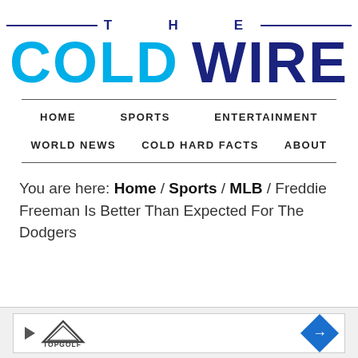THE COLD WIRE
HOME   SPORTS   ENTERTAINMENT   WORLD NEWS   COLD HARD FACTS   ABOUT
You are here: Home / Sports / MLB / Freddie Freeman Is Better Than Expected For The Dodgers
[Figure (logo): TopGolf advertisement banner with play icon, TopGolf logo, and blue navigation arrow]